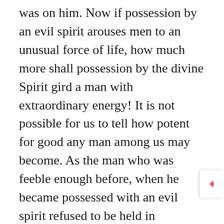was on him. Now if possession by an evil spirit arouses men to an unusual force of life, how much more shall possession by the divine Spirit gird a man with extraordinary energy! It is not possible for us to tell how potent for good any man among us may become. As the man who was feeble enough before, when he became possessed with an evil spirit refused to be held in bondage, so the man possessed by the divine Spirit becomes supernaturally strong, and refuses to be the captive of sin or Satan. Look at Martin Luther; could